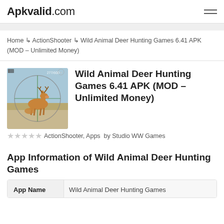Apkvalid.com
Home → ActionShooter → Wild Animal Deer Hunting Games 6.41 APK (MOD – Unlimited Money)
Wild Animal Deer Hunting Games 6.41 APK (MOD – Unlimited Money)
ActionShooter, Apps  by Studio WW Games
App Information of Wild Animal Deer Hunting Games
| App Name |  |
| --- | --- |
| App Name | Wild Animal Deer Hunting Games |